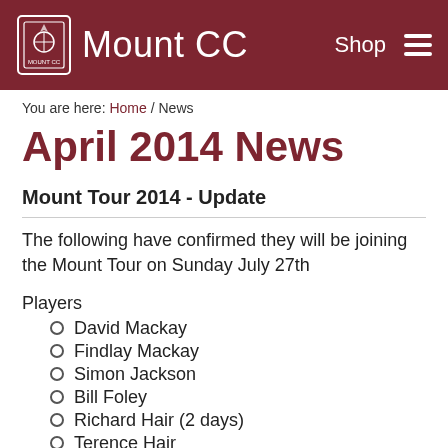Mount CC
You are here: Home / News
April 2014 News
Mount Tour 2014 - Update
The following have confirmed they will be joining the Mount Tour on Sunday July 27th
Players
David Mackay
Findlay Mackay
Simon Jackson
Bill Foley
Richard Hair (2 days)
Terence Hair